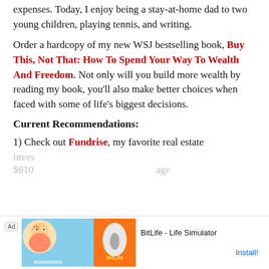expenses. Today, I enjoy being a stay-at-home dad to two young children, playing tennis, and writing.
Order a hardcopy of my new WSJ bestselling book, Buy This, Not That: How To Spend Your Way To Wealth And Freedom. Not only will you build more wealth by reading my book, you'll also make better choices when faced with some of life's biggest decisions.
Current Recommendations:
1) Check out Fundrise, my favorite real estate inves... $810... age
[Figure (other): Advertisement banner for BitLife - Life Simulator app with ad label, cartoon character image, BitLife logo on orange background, app name and Install button]